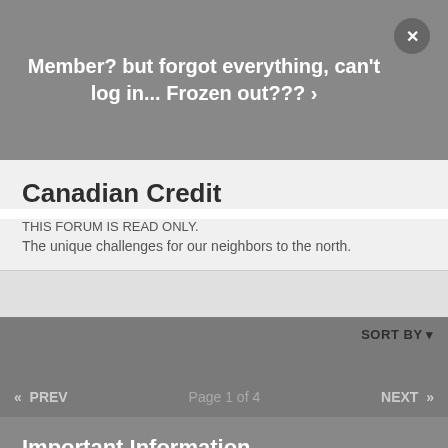Member? but forgot everything, can't log in... Frozen out??? ›
Canadian Credit
THIS FORUM IS READ ONLY.
The unique challenges for our neighbors to the north.
SORT BY ▾
« PREV   Page 1 of 4   NEXT »
Important Information
Guidelines
✔ I accept